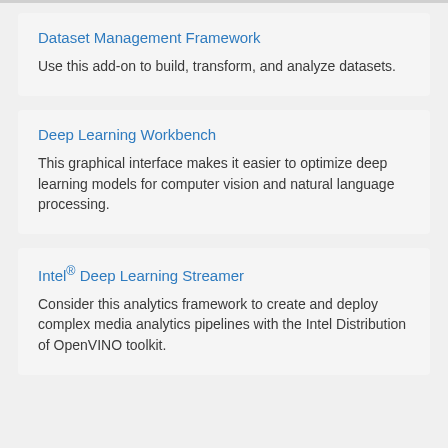Dataset Management Framework
Use this add-on to build, transform, and analyze datasets.
Deep Learning Workbench
This graphical interface makes it easier to optimize deep learning models for computer vision and natural language processing.
Intel® Deep Learning Streamer
Consider this analytics framework to create and deploy complex media analytics pipelines with the Intel Distribution of OpenVINO toolkit.